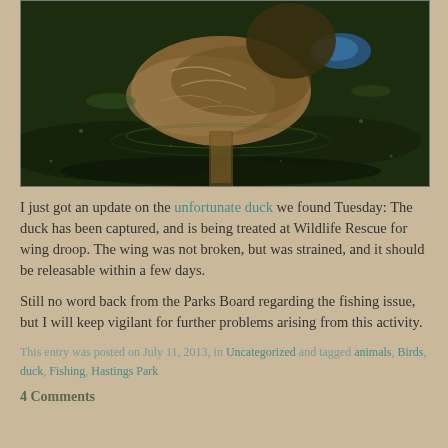[Figure (photo): A mallard duck swimming on dark green water, photographed from above showing its mottled brown feathers and reflection in the water]
I just got an update on the unfortunate duck we found Tuesday: The duck has been captured, and is being treated at Wildlife Rescue for wing droop. The wing was not broken, but was strained, and it should be releasable within a few days.
Still no word back from the Parks Board regarding the fishing issue, but I will keep vigilant for further problems arising from this activity.
This entry was posted on July 11, 2013, in Uncategorized and tagged animals, Birds, duck, Fishing, Hastings Park
4 Comments